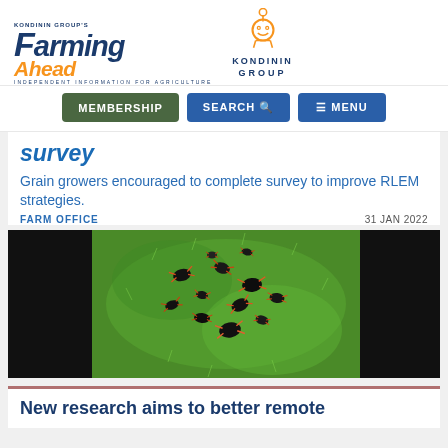[Figure (logo): Farming Ahead magazine logo by Kondinin Group — 'Farming' in dark blue italic bold, 'Ahead' in orange italic, tagline 'Independent Information for Agriculture', and Kondinin Group robot/antenna icon with text]
MEMBERSHIP  SEARCH  ≡ MENU
survey
Grain growers encouraged to complete survey to improve RLEM strategies.
FARM OFFICE   31 JAN 2022
[Figure (photo): Close-up macro photo of red-legged earth mites (RLEM) — small black oval-bodied mites with orange-red legs clustered on a green plant surface]
New research aims to better remote